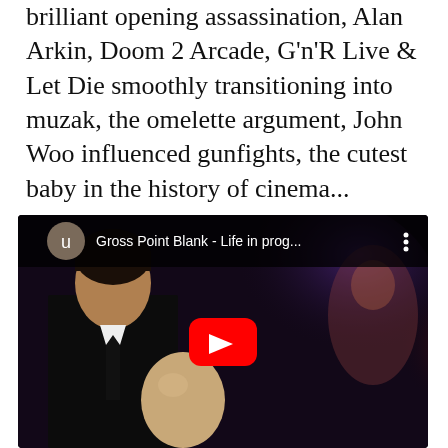brilliant opening assassination, Alan Arkin, Doom 2 Arcade, G'n'R Live & Let Die smoothly transitioning into muzak, the omelette argument, John Woo influenced gunfights, the cutest baby in the history of cinema...
[Figure (screenshot): YouTube video embed showing 'Gross Point Blank - Life in prog...' with a dark scene of a person in a suit, a baby, and purple/red background lighting. A red YouTube play button is visible in the center.]